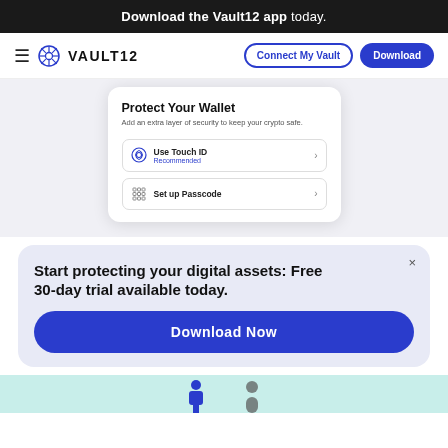Download the Vault12 app today.
[Figure (screenshot): Vault12 navigation bar with hamburger menu, Vault12 logo, Connect My Vault outlined button, and Download solid blue button]
[Figure (screenshot): Phone mockup showing Protect Your Wallet screen with Use Touch ID (Recommended) and Set up Passcode options]
Start protecting your digital assets: Free 30-day trial available today.
Download Now
[Figure (illustration): Bottom strip with teal background showing partial illustration figures]